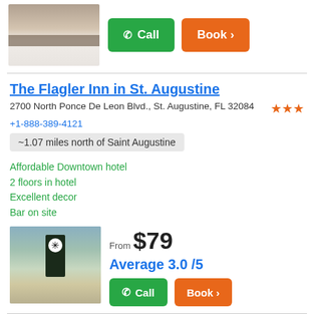[Figure (photo): Hotel room bed photo thumbnail]
[Figure (other): Green Call button and orange Book button]
The Flagler Inn in St. Augustine
2700 North Ponce De Leon Blvd., St. Augustine, FL 32084
+1-888-389-4121
~1.07 miles north of Saint Augustine
Affordable Downtown hotel
2 floors in hotel
Excellent decor
Bar on site
[Figure (photo): The Flagler Inn exterior photo showing entrance archway with sign]
From $79
Average 3.0 /5
[Figure (other): Green Call button and orange Book button]
Southern Oaks Inn in St. Augustine
2800 North Ponce De Leon Blvd., St. Augustine, FL 32084